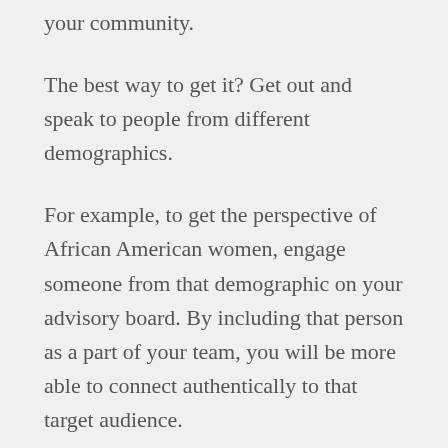your community.
The best way to get it? Get out and speak to people from different demographics.
For example, to get the perspective of African American women, engage someone from that demographic on your advisory board. By including that person as a part of your team, you will be more able to connect authentically to that target audience.
To find the right people, you might need to ask